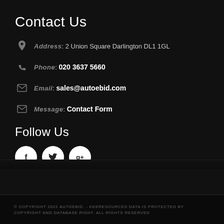Contact Us
Address: 2 Union Square Darlington DL1 1GL
Phone: 020 3637 5660
Email: sales@autoebid.com
Message: Contact Form
Follow Us
[Figure (illustration): Three social media icons: Facebook (f), Twitter (bird), Google+ (g+) as white circles on dark background]
© COPYRIGHT 2022 AUTOEBID. - KEERESOURCES DATA IS PROTECTED BY COPYRIGHT AND DATABASE RIGHT. ALL RIGHTS RESERVED